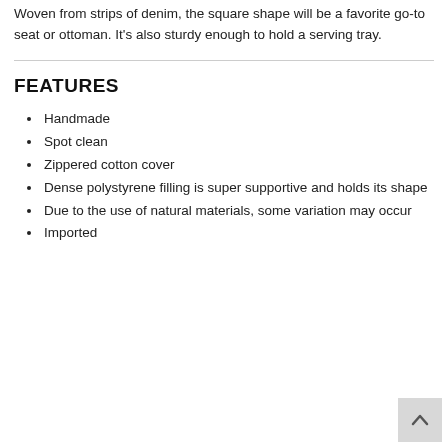Woven from strips of denim, the square shape will be a favorite go-to seat or ottoman. It's also sturdy enough to hold a serving tray.
FEATURES
Handmade
Spot clean
Zippered cotton cover
Dense polystyrene filling is super supportive and holds its shape
Due to the use of natural materials, some variation may occur
Imported